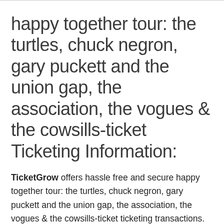happy together tour: the turtles, chuck negron, gary puckett and the union gap, the association, the vogues & the cowsills-ticket Ticketing Information:
TicketGrow offers hassle free and secure happy together tour: the turtles, chuck negron, gary puckett and the union gap, the association, the vogues & the cowsills-ticket ticketing transactions. Our online happy together tour: the turtles, chuck negron, gary puckett and the union gap, the association, the vogues & the cowsills-ticket ticket inventory provides competitive ticket prices for the most